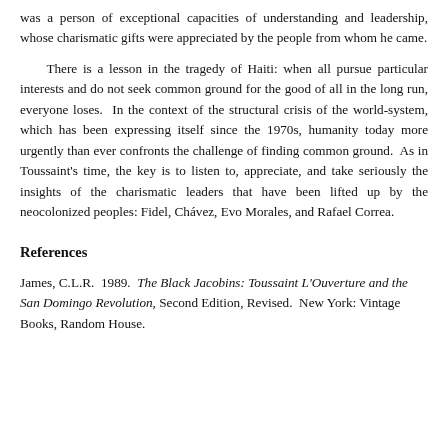was a person of exceptional capacities of understanding and leadership, whose charismatic gifts were appreciated by the people from whom he came.
There is a lesson in the tragedy of Haiti: when all pursue particular interests and do not seek common ground for the good of all in the long run, everyone loses. In the context of the structural crisis of the world-system, which has been expressing itself since the 1970s, humanity today more urgently than ever confronts the challenge of finding common ground. As in Toussaint's time, the key is to listen to, appreciate, and take seriously the insights of the charismatic leaders that have been lifted up by the neocolonized peoples: Fidel, Chávez, Evo Morales, and Rafael Correa.
References
James, C.L.R. 1989. The Black Jacobins: Toussaint L'Ouverture and the San Domingo Revolution, Second Edition, Revised. New York: Vintage Books, Random House.